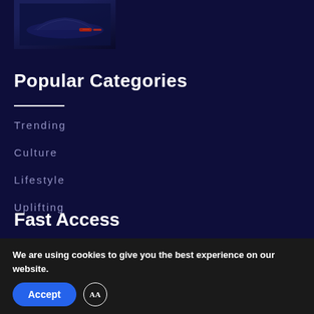[Figure (photo): Dark photo of a car with red tail lights, partially visible at the top left]
Popular Categories
Trending
Culture
Lifestyle
Uplifting
Fast Access
We are using cookies to give you the best experience on our website.
Accept